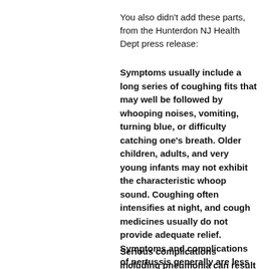You also didn't add these parts, from the Hunterdon NJ Health Dept press release:
Symptoms usually include a long series of coughing fits that may well be followed by whooping noises, vomiting, turning blue, or difficulty catching one's breath. Older children, adults, and very young infants may not exhibit the characteristic whoop sound. Coughing often intensifies at night, and cough medicines usually do not provide adequate relief. Symptoms and complications of pertussis generally are less apparent among older children and adults.
Serious complications including pneumonia can result among all age groups due to